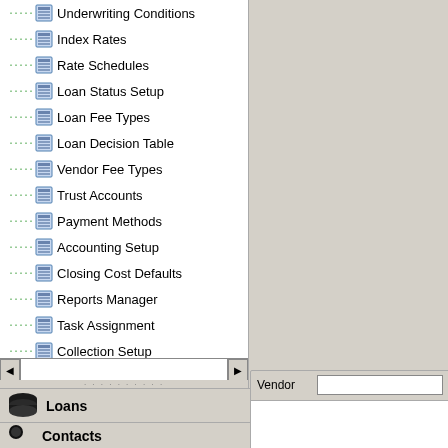[Figure (screenshot): Software navigation tree panel showing loan management menu items with icons, horizontal scrollbar, and navigation buttons for Loans and Contacts at the bottom. Right panel shows a Vendor label with input field.]